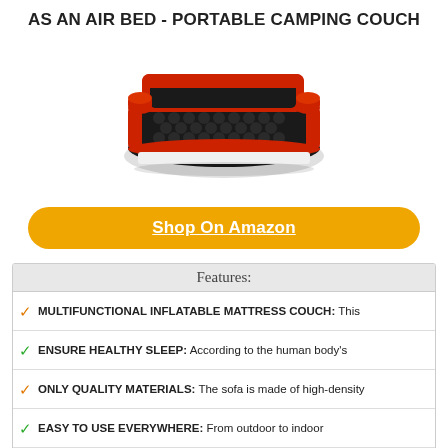AS AN AIR BED - PORTABLE CAMPING COUCH
[Figure (photo): Inflatable red and black air bed/couch sofa with armrests and cylindrical headrests, viewed from a slight angle above]
Shop On Amazon
Features:
MULTIFUNCTIONAL INFLATABLE MATTRESS COUCH: This
ENSURE HEALTHY SLEEP: According to the human body's
ONLY QUALITY MATERIALS: The sofa is made of high-density
EASY TO USE EVERYWHERE: From outdoor to indoor
REAL SERVICE & MISSION: When you purchase Hoovy, you